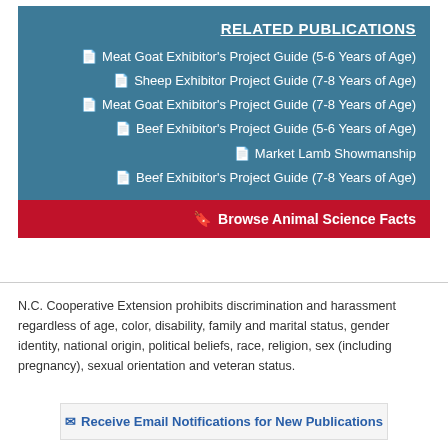RELATED PUBLICATIONS
Meat Goat Exhibitor's Project Guide (5-6 Years of Age)
Sheep Exhibitor Project Guide (7-8 Years of Age)
Meat Goat Exhibitor's Project Guide (7-8 Years of Age)
Beef Exhibitor's Project Guide (5-6 Years of Age)
Market Lamb Showmanship
Beef Exhibitor's Project Guide (7-8 Years of Age)
Browse Animal Science Facts
N.C. Cooperative Extension prohibits discrimination and harassment regardless of age, color, disability, family and marital status, gender identity, national origin, political beliefs, race, religion, sex (including pregnancy), sexual orientation and veteran status.
Receive Email Notifications for New Publications